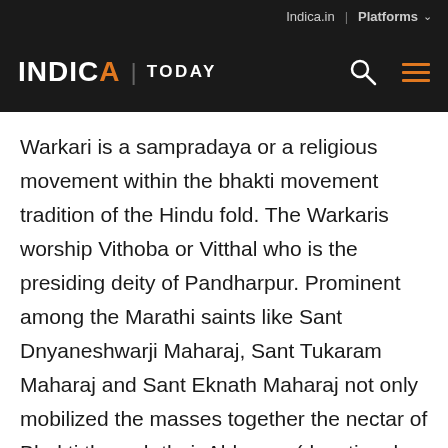Indica.in | Platforms
INDICA | TODAY
Warkari is a sampradaya or a religious movement within the bhakti movement tradition of the Hindu fold. The Warkaris worship Vithoba or Vitthal who is the presiding deity of Pandharpur. Prominent among the Marathi saints like Sant Dnyaneshwarji Maharaj, Sant Tukaram Maharaj and Sant Eknath Maharaj not only mobilized the masses together the nectar of Bhakti through their Abhangs (devotional poetry sung in the praise of Lord Vithoba) but were also responsible for social and